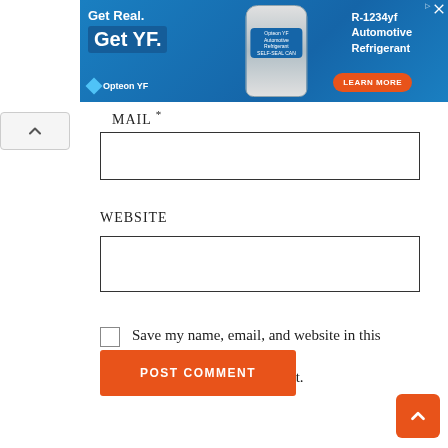[Figure (photo): Advertisement banner for Opteon YF R-1234yf Automotive Refrigerant with blue background, product bottle image, 'Get Real. Get YF.' headline, and orange 'LEARN MORE' button]
MAIL *
WEBSITE
Save my name, email, and website in this browser for the next time I comment.
POST COMMENT